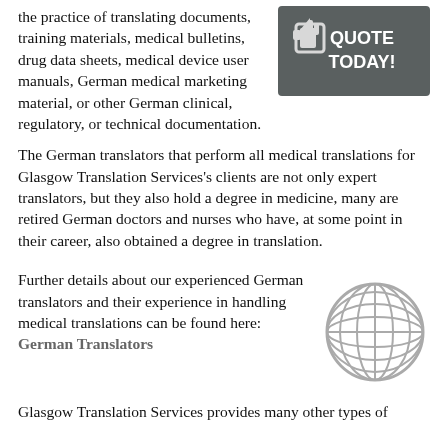the practice of translating documents, training materials, medical bulletins, drug data sheets, medical device user manuals, German medical marketing material, or other German clinical, regulatory, or technical documentation.
[Figure (illustration): Dark grey banner button with hand/cursor icon and text 'QUOTE TODAY!' in bold white letters]
The German translators that perform all medical translations for Glasgow Translation Services's clients are not only expert translators, but they also hold a degree in medicine, many are retired German doctors and nurses who have, at some point in their career, also obtained a degree in translation.
Further details about our experienced German translators and their experience in handling medical translations can be found here:  German Translators
[Figure (illustration): Grey wireframe globe icon]
Glasgow Translation Services provides many other types of